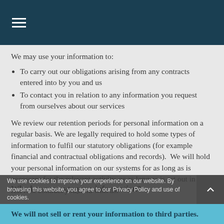≡
We may use your information to:
To carry out our obligations arising from any contracts entered into by you and us
To contact you in relation to any information you request from ourselves about our services
We review our retention periods for personal information on a regular basis. We are legally required to hold some types of information to fulfil our statutory obligations (for example financial and contractual obligations and records).  We will hold your personal information on our systems for as long as is necessary for the relevant activity, or as long as is set out in any relevant contract you hold with us.
Who has access to your information?
We use cookies to improve your experience on our website. By browsing this website, you agree to our Privacy Policy and use of cookies.
We will not sell or rent your information to third parties.